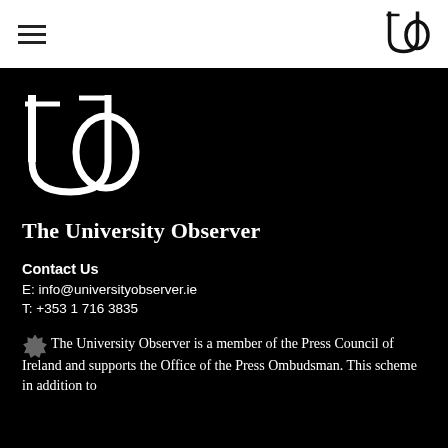University Observer header with hamburger menu and logo
[Figure (logo): University Observer UO logo (large, white) on black background]
The University Observer
Contact Us
E: info@universityobserver.ie
T: +353 1 716 3835
The University Observer is a member of the Press Council of Ireland and supports the Office of the Press Ombudsman. This scheme in addition to